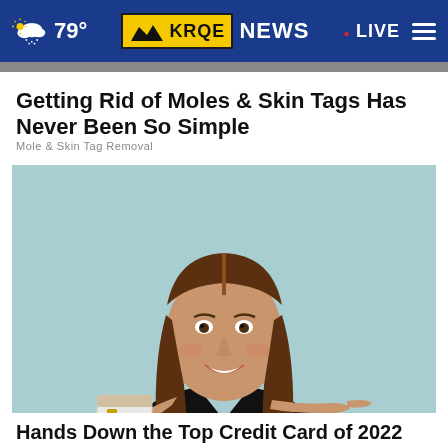79° KRQE NEWS • LIVE
Getting Rid of Moles & Skin Tags Has Never Been So Simple
Mole & Skin Tag Removal
[Figure (photo): Young woman with long brown hair wearing a black v-neck top, smiling and holding up a credit card while pointing at it with her other hand, against a light teal background]
Hands Down the Top Credit Card of 2022